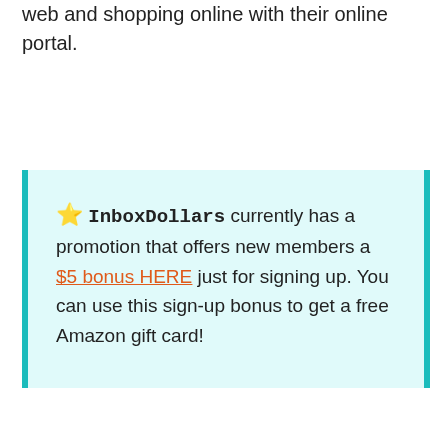web and shopping online with their online portal.
⭐ InboxDollars currently has a promotion that offers new members a $5 bonus HERE just for signing up. You can use this sign-up bonus to get a free Amazon gift card!